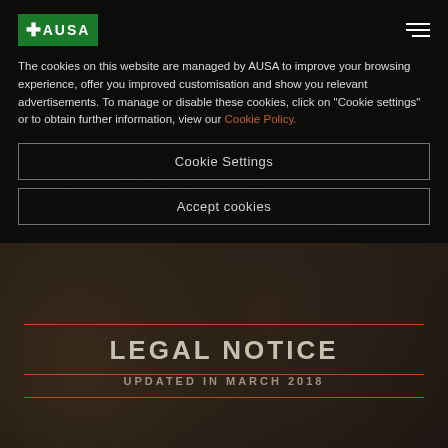[Figure (photo): Dark rocky quarry or mining site background with dramatic lighting]
AUSA logo and navigation hamburger menu
The cookies on this website are managed by AUSA to improve your browsing experience, offer you improved customisation and show you relevant advertisements. To manage or disable these cookies, click on "Cookie settings" or to obtain further information, view our Cookie Policy.
Cookie Settings
Accept cookies
LEGAL NOTICE
UPDATED IN MARCH 2018